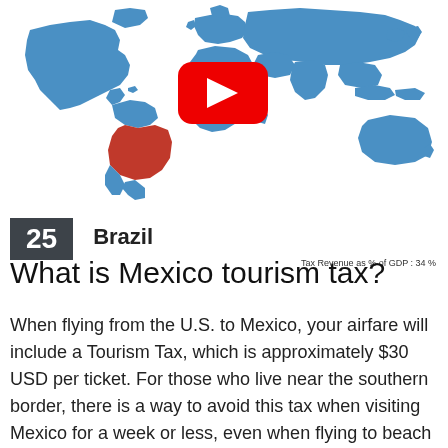[Figure (map): World map with countries shown in blue and Brazil highlighted in red. A YouTube play button icon (red rounded rectangle with white triangle) is overlaid in the center of the map.]
25    Brazil
Tax Revenue as % of GDP : 34 %
What is Mexico tourism tax?
When flying from the U.S. to Mexico, your airfare will include a Tourism Tax, which is approximately $30 USD per ticket. For those who live near the southern border, there is a way to avoid this tax when visiting Mexico for a week or less, even when flying to beach resorts in southern Mexico.